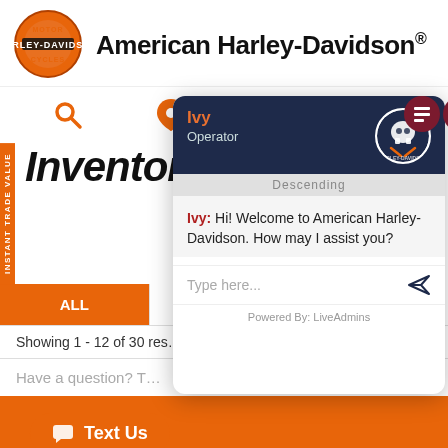[Figure (screenshot): American Harley-Davidson website screenshot with chat overlay. Shows logo, navigation icons, inventory page heading, ALL/NEW/PRE- tab bar, results text, and a live chat popup from 'Ivy' (Operator) saying 'Hi! Welcome to American Harley-Davidson. How may I assist you?' with a Type here input and Powered By: LiveAdmins footer. Orange Text Us button visible. INSTANT TRADE VALUE sidebar label visible.]